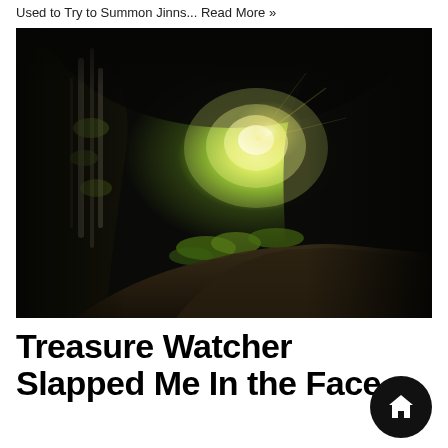Used to Try to Summon Jinns... Read More »
[Figure (photo): A dark cave tunnel with rocky walls and ceiling, with bright green light and vegetation visible at the cave opening, and a dirt path leading toward the exit.]
Treasure Watcher Slapped Me In the Face